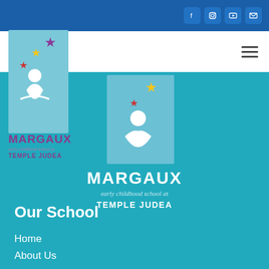[Figure (logo): Margaux Early Childhood School at Temple Judea logo - top social media bar with Facebook, Instagram, YouTube, and email icons on blue background]
[Figure (logo): Navigation bar with hamburger menu on white background]
[Figure (logo): Small Margaux Early Childhood School at Temple Judea logo on left side with teal card background]
[Figure (logo): Large Margaux Early Childhood School at Temple Judea logo centered on teal background]
Our School
Home
About Us